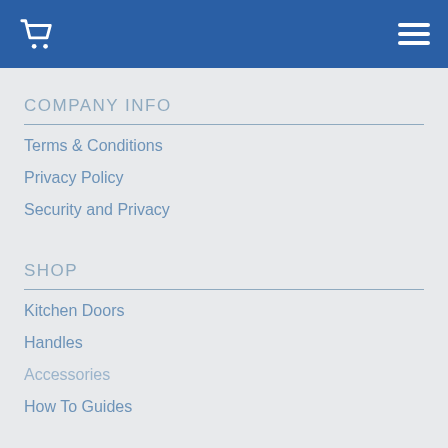Navigation header with cart icon and menu icon
COMPANY INFO
Terms & Conditions
Privacy Policy
Security and Privacy
SHOP
Kitchen Doors
Handles
Accessories
How To Guides